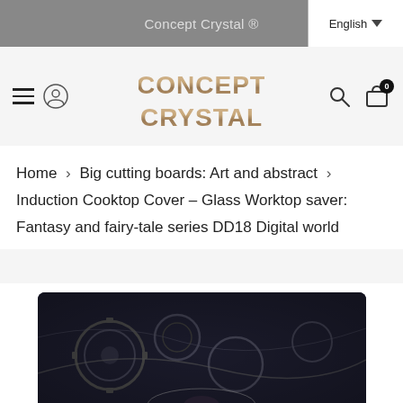Concept Crystal ®
[Figure (logo): Concept Crystal logo with metallic 3D block letters]
Home > Big cutting boards: Art and abstract > Induction Cooktop Cover – Glass Worktop saver: Fantasy and fairy-tale series DD18 Digital world
[Figure (photo): Product photo of a glass cutting board with dark steampunk/digital world artwork showing gears and mechanical elements]